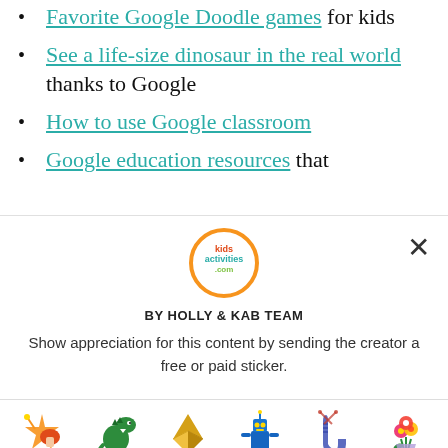Favorite Google Doodle games for kids
See a life-size dinosaur in the real world thanks to Google
How to use Google classroom
Google education resources that
[Figure (logo): Kids Activities .com circular logo with orange ring and colorful text]
BY HOLLY & KAB TEAM
Show appreciation for this content by sending the creator a free or paid sticker.
[Figure (illustration): Row of sticker icons with prices: Free (star/mushroom), $1.00 (green dinosaur), $2.00 (gold origami crane), $4.00 (blue robot), $8.00 (blue sock with needles), $12.00 (flower bouquet)]